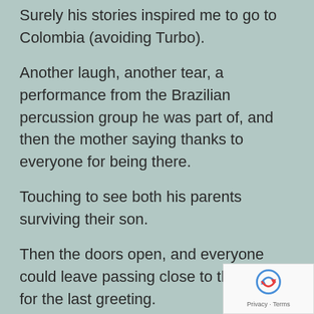Surely his stories inspired me to go to Colombia (avoiding Turbo).
Another laugh, another tear, a performance from the Brazilian percussion group he was part of, and then the mother saying thanks to everyone for being there.
Touching to see both his parents surviving their son.
Then the doors open, and everyone could leave passing close to the coffin for the last greeting.